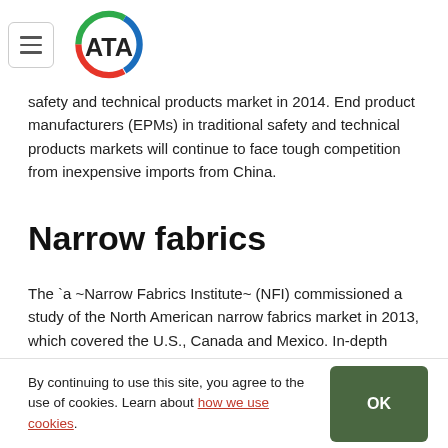ATA (logo)
safety and technical products market in 2014. End product manufacturers (EPMs) in traditional safety and technical products markets will continue to face tough competition from inexpensive imports from China.
Narrow fabrics
The `a ~Narrow Fabrics Institute~ (NFI) commissioned a study of the North American narrow fabrics market in 2013, which covered the U.S., Canada and Mexico. In-depth surveys, interviews with industry participants, and secondary research were employed to gather information for the study.
By continuing to use this site, you agree to the use of cookies. Learn about how we use cookies.